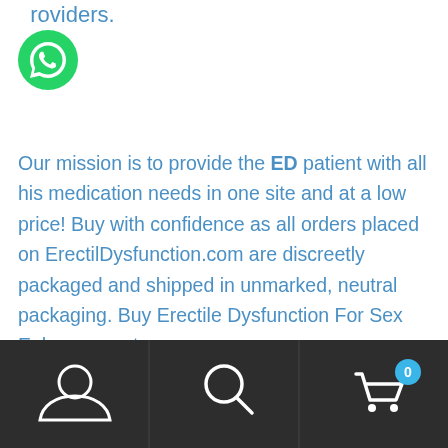providers.
[Figure (illustration): Green circular WhatsApp button icon]
Our mission is to provide the ED patient with all his medication needs in one site and at a low price! Buy with confidence as all orders placed on ErectilDysfunction.com are discreetly packaged and shipped in unmarked, neutral packaging. Buy Erectile Dysfunction For Sex Enhancement
Best Male Enhancement Pills of 2022
[Figure (other): Dark bottom navigation bar with user/account icon, search icon, and shopping cart icon with badge showing 0]